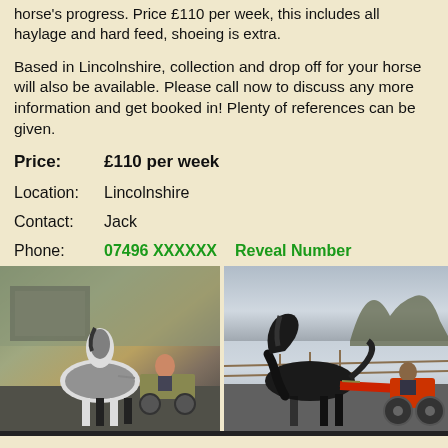horse's progress. Price £110 per week, this includes all haylage and hard feed, shoeing is extra.
Based in Lincolnshire, collection and drop off for your horse will also be available. Please call now to discuss any more information and get booked in! Plenty of references can be given.
Price: £110 per week
Location: Lincolnshire
Contact: Jack
Phone: 07496 XXXXXX    Reveal Number
[Figure (photo): Two side-by-side photos of horses pulling carts. Left photo shows a black and white piebald horse with a cart and person on a farm. Right photo shows a black horse trotting pulling a sulky/racing cart with a person on a road.]